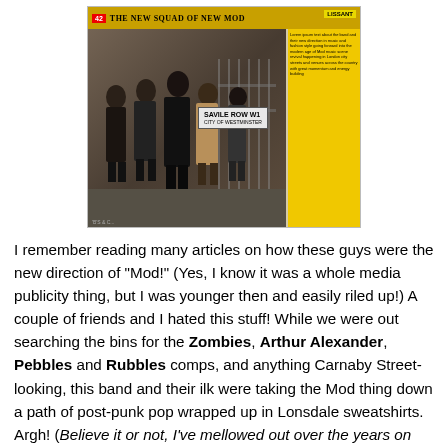[Figure (photo): Magazine clipping showing a black and white photo of a group of young men (a band) standing on Savile Row street, with a yellow column of text on the right side and a header reading 'THE NEW SQUAD OF NEW MOD']
I remember reading many articles on how these guys were the new direction of "Mod!" (Yes, I know it was a whole media publicity thing, but I was younger then and easily riled up!) A couple of friends and I hated this stuff! While we were out searching the bins for the Zombies, Arthur Alexander, Pebbles and Rubbles comps, and anything Carnaby Street-looking, this band and their ilk were taking the Mod thing down a path of post-punk pop wrapped up in Lonsdale sweatshirts. Argh! (Believe it or not, I've mellowed out over the years on this, but remember... we've traveled back to 1994 so you gotta deal with my '94 rage!)
Now, although Menswear were, from what I can remember,